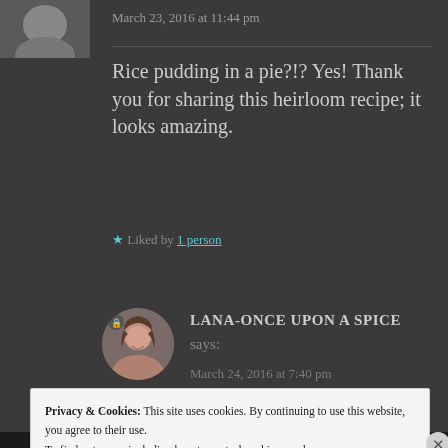March 23, 2016 at 11:44 pm
Rice pudding in a pie?!? Yes! Thank you for sharing this heirloom recipe; it looks amazing.
★ Liked by 1 person
LANA-ONCE UPON A SPICE says:
March 24, 2016 at 7:40 pm
Privacy & Cookies: This site uses cookies. By continuing to use this website, you agree to their use.
To find out more, including how to control cookies, see here: Cookie Policy
Close and accept